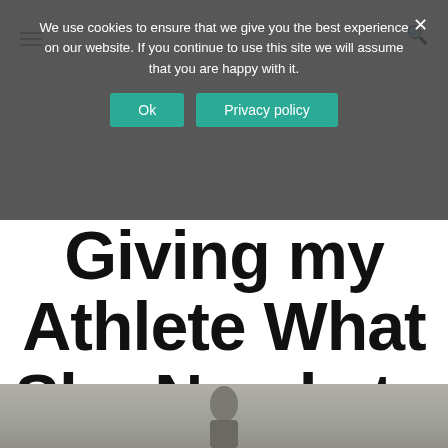We use cookies to ensure that we give you the best experience on our website. If you continue to use this site we will assume that you are happy with it.
[Figure (screenshot): Cookie consent banner with dark overlay showing text and two buttons: 'Ok' and 'Privacy policy' in teal/green color]
Giving my Athlete What She Needs to Be Her Best.
[Figure (photo): Partial photo at bottom of page showing an athlete, cropped to show only the top of the image]